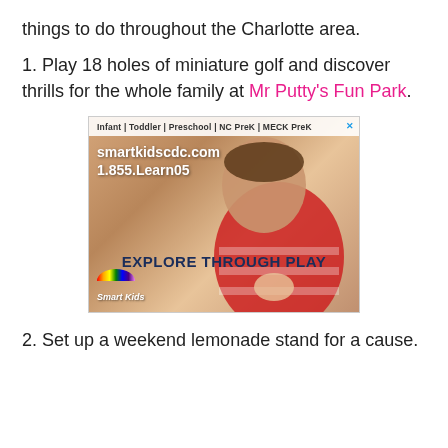things to do throughout the Charlotte area.
1. Play 18 holes of miniature golf and discover thrills for the whole family at Mr Putty's Fun Park.
[Figure (photo): Advertisement for Smart Kids CDC showing a toddler in a red striped shirt playing with a toy. Text reads: Infant | Toddler | Preschool | NC PreK | MECK PreK, smartkidscdc.com, 1.855.Learn05, EXPLORE THROUGH PLAY, Smart Kids logo with rainbow arc.]
2. Set up a weekend lemonade stand for a cause.